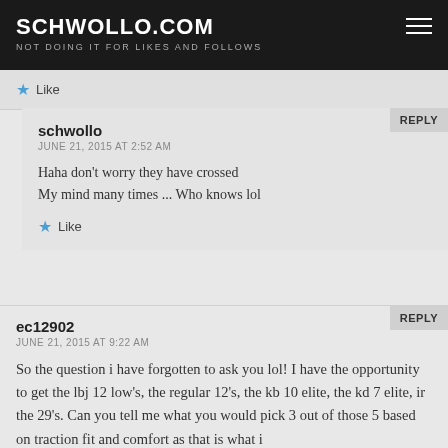SCHWOLLO.COM
NOT DOING IT FOR LIKES AND FOLLOWS
★ Like
schwollo
JUNE 21, 2015 AT 2:52 AM
Haha don't worry they have crossed My mind many times ... Who knows lol
★ Like
ec12902
JUNE 21, 2015 AT 9:22 AM
So the question i have forgotten to ask you lol! I have the opportunity to get the lbj 12 low's, the regular 12's, the kb 10 elite, the kd 7 elite, ir the 29's. Can you tell me what you would pick 3 out of those 5 based on traction fit and comfort as that is what i